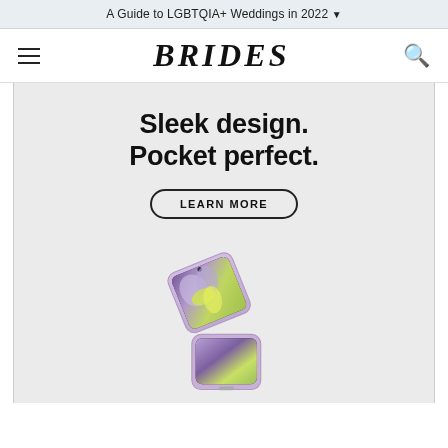A Guide to LGBTQIA+ Weddings in 2022 ▼
BRIDES
[Figure (infographic): Samsung Galaxy Z Flip4 advertisement. Headline: 'Sleek design. Pocket perfect.' with a 'LEARN MORE' button and a product image of a lavender Samsung Galaxy Z Flip4 folding phone open at an angle showing a purple flower wallpaper.]